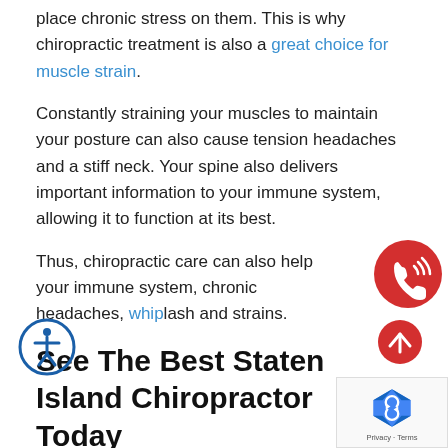place chronic stress on them. This is why chiropractic treatment is also a great choice for muscle strain.
Constantly straining your muscles to maintain your posture can also cause tension headaches and a stiff neck. Your spine also delivers important information to your immune system, allowing it to function at its best.
Thus, chiropractic care can also help your immune system, chronic headaches, whip[lash] and strains.
See The Best Staten Island Chiropractor Today